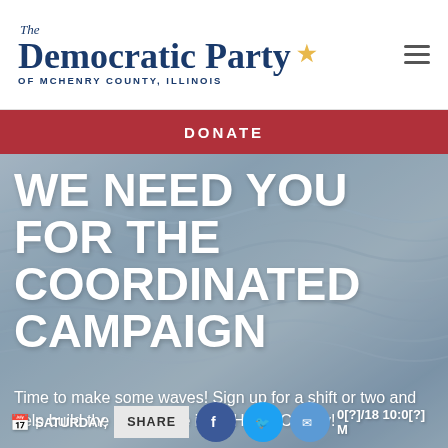The Democratic Party OF McHENRY COUNTY, ILLINOIS
DONATE
[Figure (photo): Wavy water surface background image in grayscale/blue tones]
WE NEED YOU FOR THE COORDINATED CAMPAIGN
Time to make some waves! Sign up for a shift or two and help build the Blue Wave in McHenry County!
SATURDAY, [date] 0[?]/18 10:0[?] M